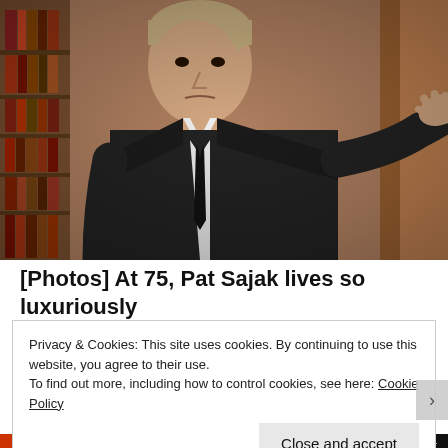[Figure (photo): Man in black suit and dark tie with grey hair, gesturing with right hand open/upward, standing in front of a bookshelf background. Identified as Pat Sajak.]
[Photos] At 75, Pat Sajak lives so luxuriously
Fruitiy
Privacy & Cookies: This site uses cookies. By continuing to use this website, you agree to their use.
To find out more, including how to control cookies, see here: Cookie Policy
Close and accept